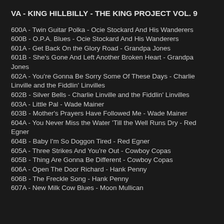VA - KING HILLBILLY - THE KING PROJECT VOL. 9
600A - Twin Guitar Polka - Ocie Stockard And His Wanderers
600B - O.P.A. Blues - Ocie Stockard And His Wanderers
601A - Get Back On the Glory Road - Grandpa Jones
601B - She's Gone And Left Another Broken Heart - Grandpa Jones
602A - You're Gonna Be Sorry Some Of These Days - Charlie Linville and the Fiddlin' Linvilles
602B - Silver Bells - Charlie Linville and the Fiddlin' Linvilles
603A - Little Pal - Wade Mainer
603B - Mother's Prayers Have Followed Me - Wade Mainer
604A - You Never Miss the Water 'Till the Well Runs Dry - Red Egner
604B - Baby I'm So Doggon Tired - Red Egner
605A - Three Strikes And You're Out - Cowboy Copas
605B - Thing Are Gonna Be Different - Cowboy Copas
606A - Open The Door Richard - Hank Penny
606B - The Freckle Song - Hank Penny
607A - New Milk Cow Blues - Moon Mullican